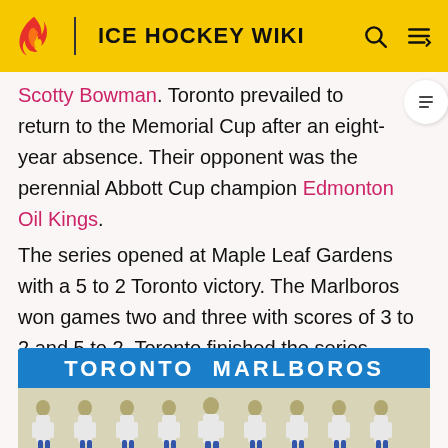ICE HOCKEY WIKI
Scotty Bowman. Toronto prevailed to return to the Memorial Cup after an eight-year absence. Their opponent was the perennial Abbott Cup champion Edmonton Oil Kings.
The series opened at Maple Leaf Gardens with a 5 to 2 Toronto victory. The Marlboros won games two and three with scores of 3 to 2 and 5 to 2. Toronto finished the series sweep with a 7 to 2 win in game 4. Many of the players on the 1964 Marlboros team, including Ron Ellis, Mike Walton and Pete Stemkowski, helped the Maple Leafs capture the Stanley Cup in 1967.
[Figure (photo): Toronto Marlboros team photo card with players in a row wearing white jerseys]